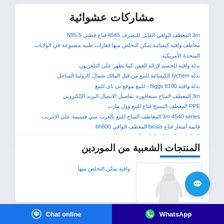مشاركات عشوائية
3m المعطف الواقي القابل للتصرف 4565 قناع قطني N95.5
معاطف واقية كيميائية يمكن التخلص منها قفازات طبية مصنوعة في الولايات المتحدة الأمريكية
بدلة واقية للجسم لإزالة العفن كما يظهر على التلفزيون
بدلة tychem الكيميائية للبيع من قبل المالك شمال كارولينا الساحل
بدلة واقية higgs tt100 - للبيع موقع نى باى للبيع
3m المعطف المتاح سنغافورة تفاصيل الاتصال البريد الإلكتروني
PPE المعطف النسيج قناع للبيع وول مارت
3m 4540 series المعاطف المتاح للبيع بالغرب مني قسيمة على الإنترنت
قائمة أسعار قناع biosis المعطف الواقي bh800
البطاقات والشارات الطبية المهنية
المنتجات الشعبية من الموردين
واقية يمكن التخلص منها
[Figure (photo): White protective coverall/hazmat suit displayed on mannequin]
Chat online
WhatsApp